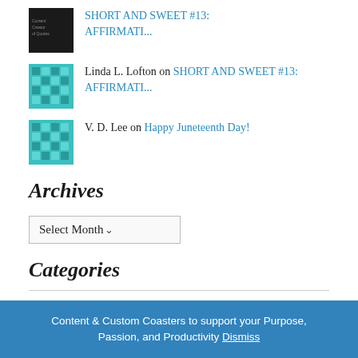SHORT AND SWEET #13: AFFIRMATI...
Linda L. Lofton on SHORT AND SWEET #13: AFFIRMATI...
V. D. Lee on Happy Juneteenth Day!
Archives
Select Month
Categories
BOOKS
Content & Custom Coasters to support your Purpose, Passion, and Productivity Dismiss